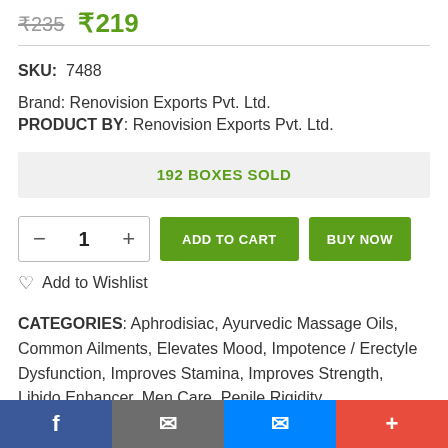₹235  ₹219
SKU:  7488
Brand: Renovision Exports Pvt. Ltd.
PRODUCT BY: Renovision Exports Pvt. Ltd.
192 BOXES SOLD
1  ADD TO CART  BUY NOW
Add to Wishlist
CATEGORIES: Aphrodisiac, Ayurvedic Massage Oils, Common Ailments, Elevates Mood, Impotence / Erectyle Dysfunction, Improves Stamina, Improves Strength, Libido Enhancer, Men Care, Penile Rigidity,
Facebook  Email  Messenger  +